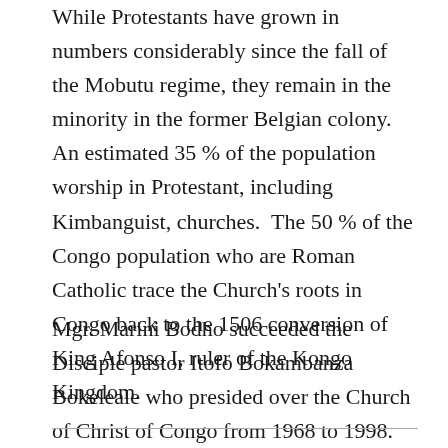While Protestants have grown in numbers considerably since the fall of the Mobutu regime, they remain in the minority in the former Belgian colony. An estimated 35 % of the population worship in Protestant, including Kimbanguist, churches.  The 50 % of the Congo population who are Roman Catholic trace the Church's roots in Congo back to the 1506 conversion of King Afonso I, ruler of the Kongo Kingdom.
Mgr. Marini Bodho succeeded the Disciple pastor Itofo Bokambanza Bokeleale who presided over the Church of Christ of Congo from 1968 to 1998.  As representatives of the minority religion during Belgian colonial days and up to the present,